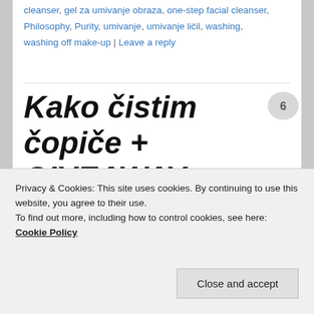cleanser, gel za umivanje obraza, one-step facial cleanser, Philosophy, Purity, umivanje, umivanje ličil, washing, washing off make-up | Leave a reply
Kako čistim čopiče + GIVEAWAY
Posted on October 7, 2016
Privacy & Cookies: This site uses cookies. By continuing to use this website, you agree to their use.
To find out more, including how to control cookies, see here: Cookie Policy